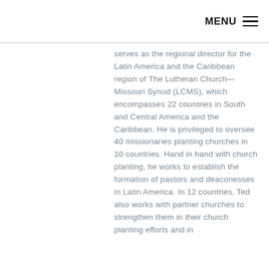MENU ≡
serves as the regional director for the Latin America and the Caribbean region of The Lutheran Church—Missouri Synod (LCMS), which encompasses 22 countries in South and Central America and the Caribbean. He is privileged to oversee 40 missionaries planting churches in 10 countries. Hand in hand with church planting, he works to establish the formation of pastors and deaconesses in Latin America. In 12 countries, Ted also works with partner churches to strengthen them in their church planting efforts and in